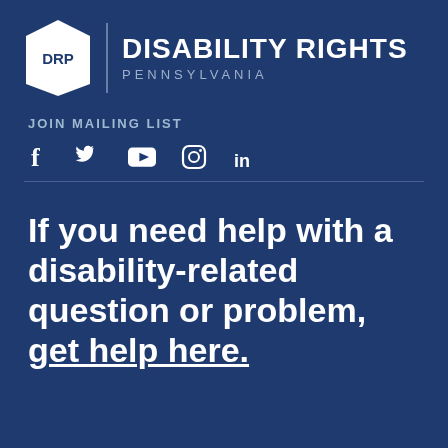[Figure (logo): Disability Rights Pennsylvania logo with DRP keystone shield icon and organization name]
JOIN MAILING LIST
[Figure (infographic): Social media icons: Facebook, Twitter, YouTube, Instagram, LinkedIn]
If you need help with a disability-related question or problem, get help here.